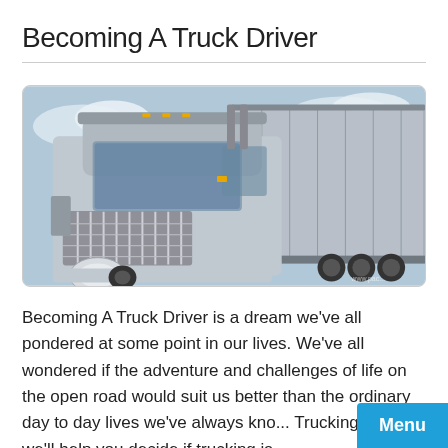Becoming A Truck Driver
[Figure (photo): A silver semi-truck (tractor-trailer) photographed from the front-left angle, showing the large chrome grille, headlights, and partial view of the trailer against a blue sky.]
Becoming A Truck Driver is a dream we've all pondered at some point in our lives. We've all wondered if the adventure and challenges of life on the open road would suit us better than the ordinary day to day lives we've always kno... TruckingTruth we'll help you decide if trucking is